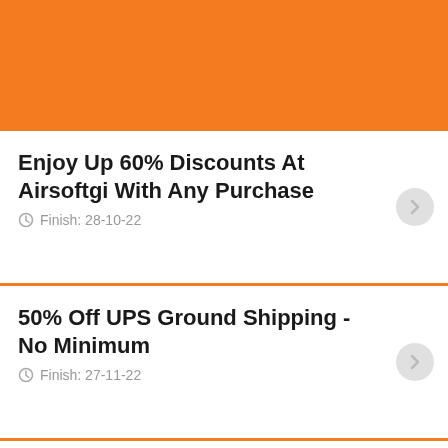[Figure (other): Orange header banner background]
Enjoy Up 60% Discounts At Airsoftgi With Any Purchase
Finish: 28-10-22
50% Off UPS Ground Shipping - No Minimum
Finish: 27-11-22
Save 25% On The Firepower JPC Plate Carrier
Finish: 27-10-22